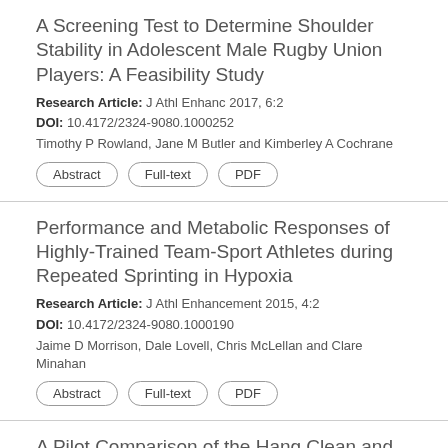A Screening Test to Determine Shoulder Stability in Adolescent Male Rugby Union Players: A Feasibility Study
Research Article: J Athl Enhanc 2017, 6:2
DOI: 10.4172/2324-9080.1000252
Timothy P Rowland, Jane M Butler and Kimberley A Cochrane
Abstract
Full-text
PDF
Performance and Metabolic Responses of Highly-Trained Team-Sport Athletes during Repeated Sprinting in Hypoxia
Research Article: J Athl Enhancement 2015, 4:2
DOI: 10.4172/2324-9080.1000190
Jaime D Morrison, Dale Lovell, Chris McLellan and Clare Minahan
Abstract
Full-text
PDF
A Pilot Comparison of the Hang Clean and Hang Snatch to the Clean Pull and Snatch Pull
Research Article: J Athl Enhanc 2017, 4:5